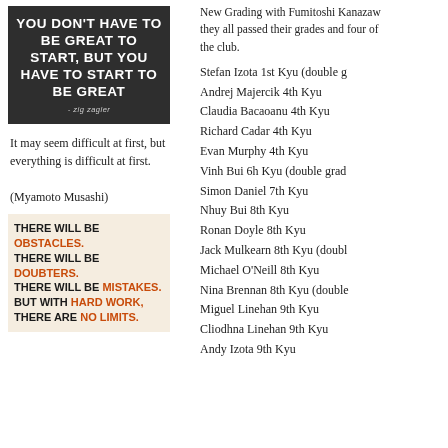[Figure (illustration): Motivational quote image with dark background: YOU DON'T HAVE TO BE GREAT TO START, BUT YOU HAVE TO START TO BE GREAT - zig zagler]
It may seem difficult at first, but everything is difficult at first.

(Myamoto Musashi)
[Figure (illustration): Motivational quote image with light background: THERE WILL BE OBSTACLES. THERE WILL BE DOUBTERS. THERE WILL BE MISTAKES. BUT WITH HARD WORK, THERE ARE NO LIMITS.]
New Grading with Fumitoshi Kanazawa they all passed their grades and four of the club.
Stefan Izota 1st Kyu (double g
Andrej Majercik 4th Kyu
Claudia Bacaoanu 4th Kyu
Richard Cadar 4th Kyu
Evan Murphy 4th Kyu
Vinh Bui 6h Kyu (double grad
Simon Daniel 7th Kyu
Nhuy Bui 8th Kyu
Ronan Doyle 8th Kyu
Jack Mulkearn 8th Kyu (doubl
Michael O'Neill 8th Kyu
Nina Brennan 8th Kyu (double
Miguel Linehan 9th Kyu
Cliodhna Linehan 9th Kyu
Andy Izota 9th Kyu